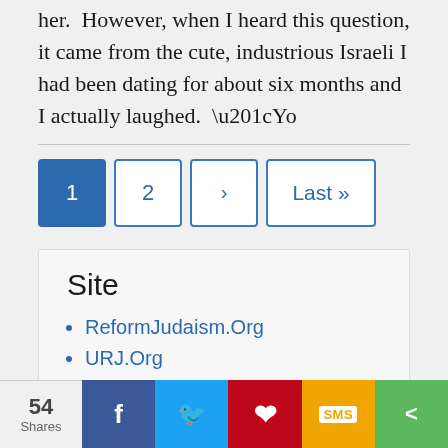her.  However, when I heard this question, it came from the cute, industrious Israeli I had been dating for about six months and I actually laughed.  “Yo
1 (current page)
2
›
Last »
Site
ReformJudaism.Org
URJ.Org
54 Shares